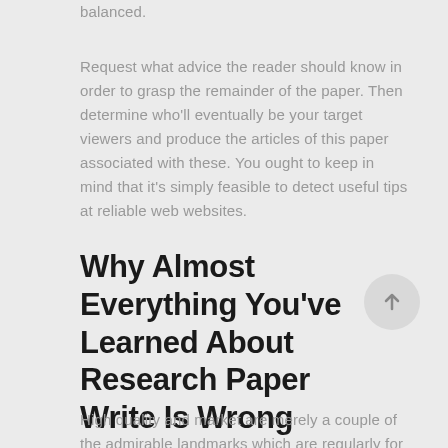balanced.
Request what advice the reader should know in order to grasp the remainder of the paper. Then determine who'll eventually be your target viewers and produce the articles of this paper associated with these. You ought to keep in mind that it's simply feasible to detect useful tips at reliable web websites.
Why Almost Everything You've Learned About Research Paper Write Is Wrong
High quality and market are merely a couple of the admirable landmarks which are regularly for